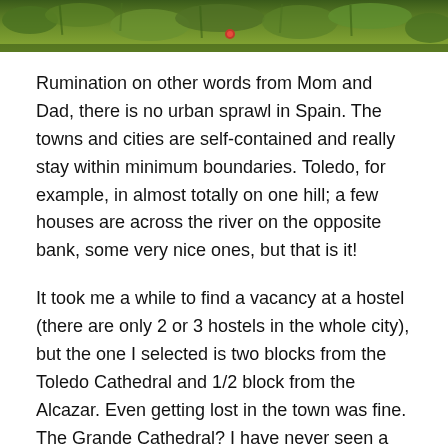[Figure (photo): Top strip of a nature/landscape photo showing green foliage, grasses, and a small red element, cropped at the top of the page.]
Rumination on other words from Mom and Dad, there is no urban sprawl in Spain. The towns and cities are self-contained and really stay within minimum boundaries. Toledo, for example, in almost totally on one hill; a few houses are across the river on the opposite bank, some very nice ones, but that is it!
It took me a while to find a vacancy at a hostel (there are only 2 or 3 hostels in the whole city), but the one I selected is two blocks from the Toledo Cathedral and 1/2 block from the Alcazar. Even getting lost in the town was fine. The Grande Cathedral? I have never seen a more awesome structure! The construction of this house of worship apparently took over three hundred years to complete (circa 1150 – 1495). I was so struck by the church, a